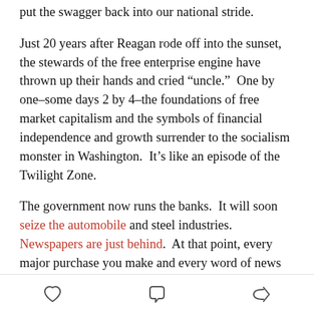put the swagger back into our national stride.
Just 20 years after Reagan rode off into the sunset, the stewards of the free enterprise engine have thrown up their hands and cried “uncle.”  One by one–some days 2 by 4–the foundations of free market capitalism and the symbols of financial independence and growth surrender to the socialism monster in Washington.  It’s like an episode of the Twilight Zone.
The government now runs the banks.  It will soon seize the automobile and steel industries.  Newspapers are just behind.  At that point, every major purchase you make and every word of news you read will be designed, assembled, packaged, filtered, and sold by a bureaucrat in Washington.
[heart icon] [comment icon] [share icon]